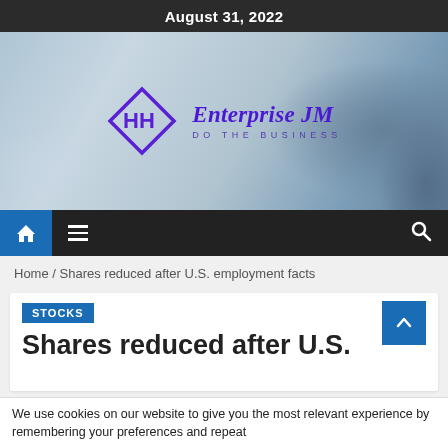August 31, 2022
[Figure (logo): Enterprise JM logo with diamond HH icon and tagline DO THE BUSINESS on blurred business photo background]
[Figure (screenshot): Navigation bar with home icon, hamburger menu, and search icon]
Home / Shares reduced after U.S. employment facts
STOCKS
Shares reduced after U.S.
We use cookies on our website to give you the most relevant experience by remembering your preferences and repeat